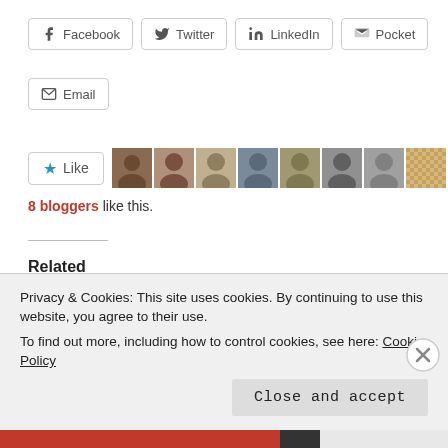[Figure (screenshot): Share buttons row: Facebook, Twitter, LinkedIn, Pocket]
[Figure (screenshot): Email share button]
[Figure (screenshot): Like button with star icon and 8 blogger avatars]
8 bloggers like this.
Related
Fifteen Myths about Bible Translation
Perhaps the number one myth about Bible translation is that a word-for-word translation is
Five More Myths about Bible Translations and the Transmission of the Text
There's an old Italian proverb that warns translators about
Privacy & Cookies: This site uses cookies. By continuing to use this website, you agree to their use.
To find out more, including how to control cookies, see here: Cookie Policy